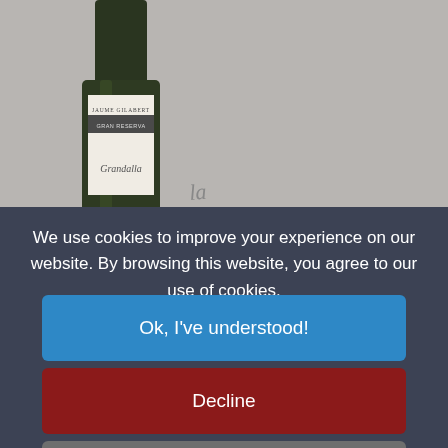[Figure (photo): Wine bottle with white label showing 'Grandalla' brand name and a dark band, against a gray background]
We use cookies to improve your experience on our website. By browsing this website, you agree to our use of cookies.
Ok, I've understood!
Decline
Settings
More Info